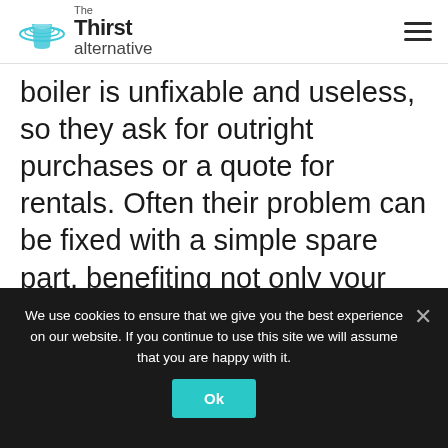The Thirst Alternative
boiler is unfixable and useless, so they ask for outright purchases or a quote for rentals. Often their problem can be fixed with a simple spare part, benefiting not only your pocket but the environment too. You can equire about this through our email, we hope this blog helped with any of your queries on wether we can supply Instanta water boiler spares.
We use cookies to ensure that we give you the best experience on our website. If you continue to use this site we will assume that you are happy with it.